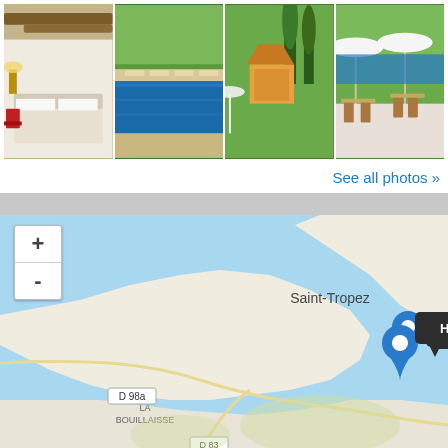[Figure (photo): Hotel photo gallery showing 4 images: bedroom interior with wooden beams, outdoor swimming pool with loungers, garden/gazebo area with cypress trees, and terrace dining area with white umbrellas]
See all photos »
[Figure (map): Interactive map showing location of Hôtel La Mandarine near Saint-Tropez, France. Map shows coastline, sea in blue, roads including D 98a and D 83, and neighborhoods LA BOUILLAISSE. A blue location pin marks the hotel with a popup label 'Hôtel La Mandarine'. Map includes zoom + and - controls.]